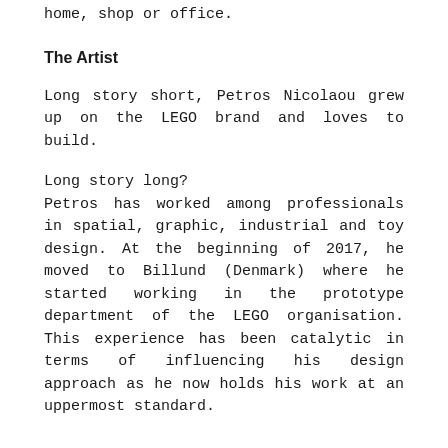home, shop or office.
The Artist
Long story short, Petros Nicolaou grew up on the LEGO brand and loves to build.
Long story long?
Petros has worked among professionals in spatial, graphic, industrial and toy design. At the beginning of 2017, he moved to Billund (Denmark) where he started working in the prototype department of the LEGO organisation. This experience has been catalytic in terms of influencing his design approach as he now holds his work at an uppermost standard.